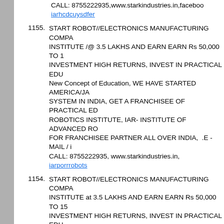CALL: 8755222935,www.starkindustries.in,faceboo iarhcdcuysdfer
1155. START ROBOT//ELECTRONICS MANUFACTURING COMPA INSTITUTE /@ 3.5 LAKHS AND EARN EARN Rs 50,000 TO 1 INVESTMENT HIGH RETURNS, INVEST IN PRACTICAL EDU New Concept of Education, WE HAVE STARTED AMERICA/JA SYSTEM IN INDIA, GET A FRANCHISEE OF PRACTICAL ED ROBOTICS INSTITUTE, IAR- INSTITUTE OF ADVANCED RO FOR FRANCHISEE PARTNER ALL OVER INDIA, .E - MAIL / i CALL: 8755222935, www.starkindustries.in, iarporrrobots
1154. START ROBOT//ELECTRONICS MANUFACTURING COMPA INSTITUTE at 3.5 LAKHS AND EARN EARN Rs 50,000 TO 15 INVESTMENT HIGH RETURNS, INVEST IN PRACTICAL EDU HAVE STARTED AMERICA/JAPAN EDUCATION SYSTEM IN FRANCHISEE OF PRACTICAL EDUCATION AND ROBOTICS INSTITUTE OF ADVANCED ROBOTICS,SEARCHING FOR F ALL OVER INDIA, A New Concept of Education,EMAILiardehradun@gmail.com,CALL:8755222935, DDN facebook, iarporrrobots
1153. START ROBOT/ELECTRONICS MANUFACTURING COMPA INSTITUTE @ 3.5 LAKHS AND EARN EARN Rs 50,000 TO R INVESTMENT HIGH RETURNS, INVEST IN PRACTICAL EDU New Concept of Education, WE HAVE STARTED AMERICA/JA SYSTEM IN INDIA, GET A FRANCHISEE OF PRACTICAL ED ROBOTICS INSTITUTE, IAR-INSTITUTE OF ADVANCED RO FOR FRANCHISEE PARTNER ALL OVER INDIA, E-MAIL- iar CALL: 8755222935, www.starkindustries.in, STARK